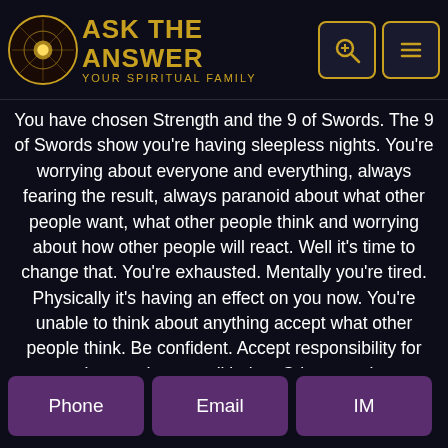ASK THE ANSWER Your Spiritual Family
You have chosen Strength and the 9 of Swords. The 9 of Swords show you're having sleepless nights. You're worrying about everyone and everything, always fearing the result, always paranoid about what other people want, what other people think and worrying about how other people will react. Well it's time to change that. You're exhausted. Mentally you're tired. Physically it's having an effect on you now. You're unable to think about anything accept what other people think. Be confident. Accept responsibility for your actions and your well being. Other people must be responsible for theirs. If this matter is to do with children you can direct them, but you need to relax and enjoy the good things instead of always worrying. The Strength card is here to help you do exactly that. It is showing that you need an inner and outer Strength of your mental thoughts. Sometimes they take over and they run too far out of control, which gives you sleepless nights, and you know the outcome will not change by worrying. You need to
Phone  Email  IM